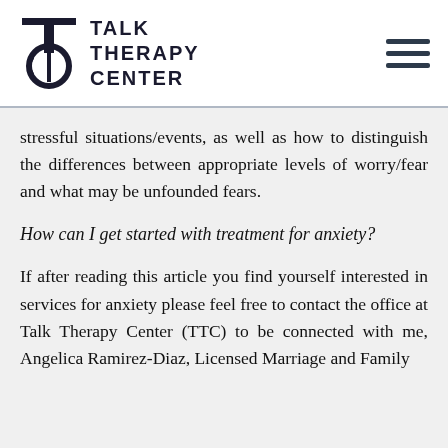TALK THERAPY CENTER
stressful situations/events, as well as how to distinguish the differences between appropriate levels of worry/fear and what may be unfounded fears.
How can I get started with treatment for anxiety?
If after reading this article you find yourself interested in services for anxiety please feel free to contact the office at Talk Therapy Center (TTC) to be connected with me, Angelica Ramirez-Diaz, Licensed Marriage and Family